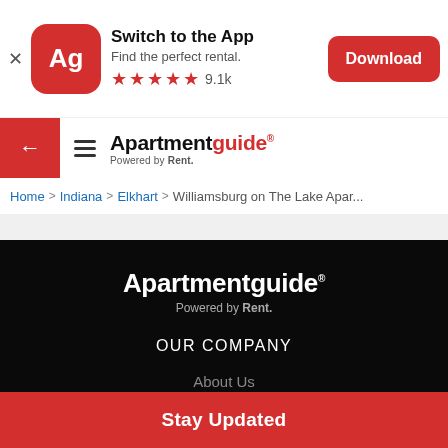[Figure (screenshot): App download banner with Apartmentguide logo, 'Switch to the App', 'Find the perfect rental.', 5-star rating 9.1k, Download button]
[Figure (logo): Apartmentguide navigation bar with back arrow, hamburger menu, and Apartmentguide Powered by Rent. logo]
Home > Indiana > Elkhart > Williamsburg on The Lake Apar...
[Figure (logo): Apartmentguide footer logo white on black, Powered by Rent.]
OUR COMPANY
About Us
AG Blog
Stay Updated